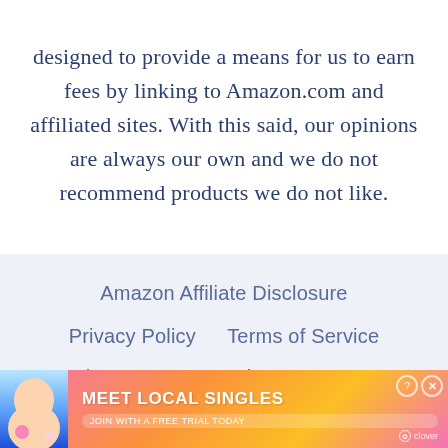designed to provide a means for us to earn fees by linking to Amazon.com and affiliated sites. With this said, our opinions are always our own and we do not recommend products we do not like.
Amazon Affiliate Disclosure
Privacy Policy    Terms of Service
The Best Boat Products    Home
[Figure (infographic): Advertisement banner: MEET LOCAL SINGLES - JOIN WITH A FREE TRIAL TODAY, clover branding, close and help buttons]